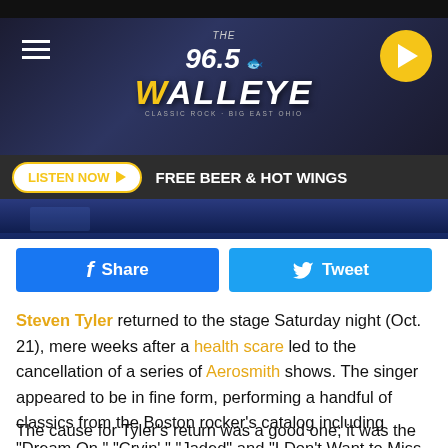96.5 The Walleye
LISTEN NOW  FREE BEER & HOT WINGS
[Figure (screenshot): Facebook Share button (blue) and Twitter Tweet button (blue)]
Steven Tyler returned to the stage Saturday night (Oct. 21), mere weeks after a health scare led to the cancellation of a series of Aerosmith shows. The singer appeared to be in fine form, performing a handful of classics from the Boston rocker's catalog including "Dream On," "Cryin'," "Jaded" and "I Don't Want to Miss a Thing."
The cause for Tyler's return was a good one; it was the David